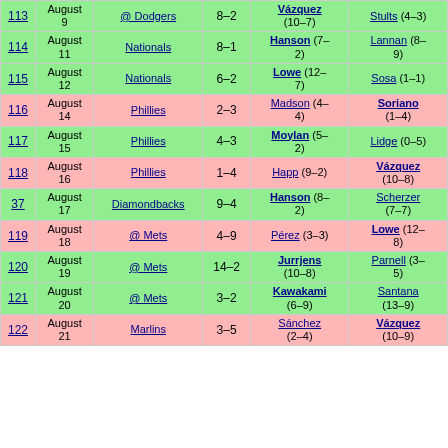| # | Date | Opponent | Score | Win | Loss |
| --- | --- | --- | --- | --- | --- |
| 113 | August 9 | @ Dodgers | 8–2 | Vázquez (10–7) | Stults (4–3) |
| 114 | August 11 | Nationals | 8–1 | Hanson (7–2) | Lannan (8–9) |
| 115 | August 12 | Nationals | 6–2 | Lowe (12–7) | Sosa (1–1) |
| 116 | August 14 | Phillies | 2–3 | Madson (4–4) | Soriano (1–4) |
| 117 | August 15 | Phillies | 4–3 | Moylan (5–2) | Lidge (0–5) |
| 118 | August 16 | Phillies | 1–4 | Happ (9–2) | Vázquez (10–8) |
| 37 | August 17 | Diamondbacks | 9–4 | Hanson (8–2) | Scherzer (7–7) |
| 119 | August 18 | @ Mets | 4–9 | Pérez (3–3) | Lowe (12–8) |
| 120 | August 19 | @ Mets | 14–2 | Jurrjens (10–8) | Parnell (3–5) |
| 121 | August 20 | @ Mets | 3–2 | Kawakami (6–9) | Santana (13–9) |
| 122 | August 21 | Marlins | 3–5 | Sánchez (2–4) | Vázquez (10–9) |